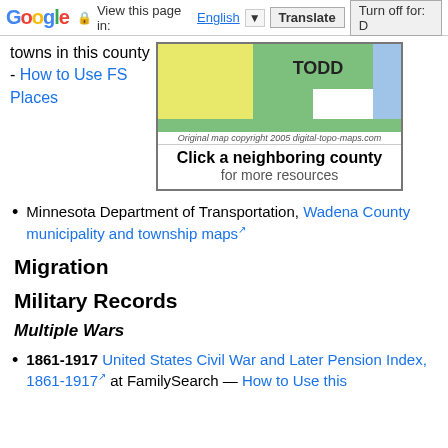Google — View this page in: English | Translate | Turn off for: D
towns in this county - How to Use FS Places
[Figure (map): Map showing TODD county and neighboring counties. Copyright 2005 digital-topo-maps.com. Text: Click a neighboring county for more resources.]
Minnesota Department of Transportation, Wadena County municipality and township maps [external link]
Migration
Military Records
Multiple Wars
1861-1917 United States Civil War and Later Pension Index, 1861-1917 [external link] at FamilySearch — How to Use this